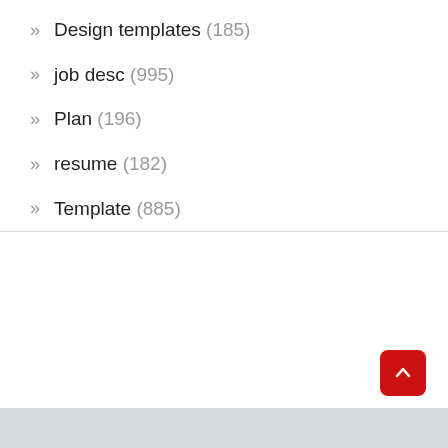Design templates (185)
job desc (995)
Plan (196)
resume (182)
Template (885)